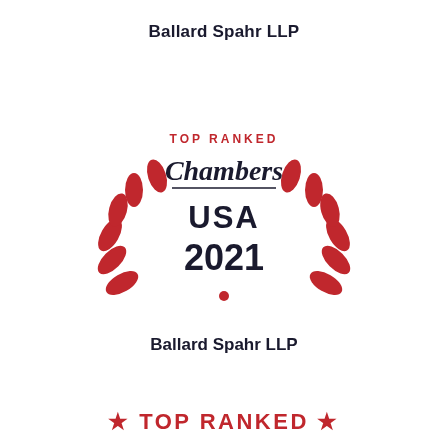Ballard Spahr LLP
[Figure (logo): Chambers USA 2021 Top Ranked badge with red laurel wreath, 'TOP RANKED' in red, 'Chambers' in serif italic dark navy, horizontal divider line, 'USA' and '2021' in large bold dark navy text, red dot below]
Ballard Spahr LLP
TOP RANKED